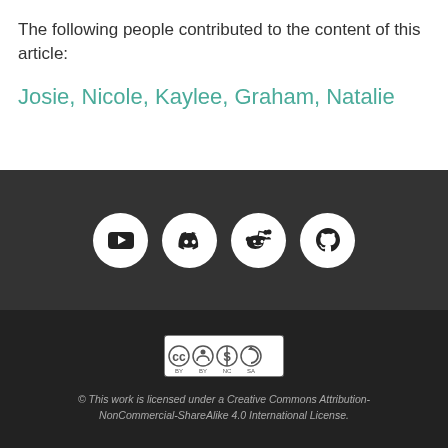The following people contributed to the content of this article:
Josie, Nicole, Kaylee, Graham, Natalie
[Figure (illustration): Four circular social media icons: YouTube, Discord, Reddit, GitHub — white icons on dark background circles, displayed on a dark grey bar.]
[Figure (logo): Creative Commons BY NC SA license badge]
© This work is licensed under a Creative Commons Attribution-NonCommercial-ShareAlike 4.0 International License.